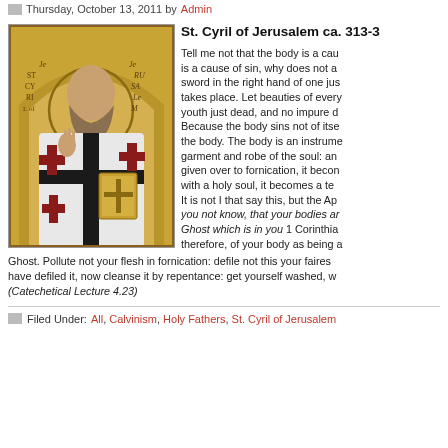Thursday, October 13, 2011 by Admin
St. Cyril of Jerusalem ca. 313-3
[Figure (illustration): Icon painting of St. Cyril of Jerusalem, depicted as a bearded bishop in white and black vestments with red crosses, holding a book and raising his right hand in blessing, with a gold halo and arch behind him, with text labels 'Je RU SA Le M' and 'ST CY RI L of']
Tell me not that the body is a cau is a cause of sin, why does not a sword in the right hand of one jus takes place. Let beauties of every youth just dead, and no impure d Because the body sins not of itse the body. The body is an instrume garment and robe of the soul: an given over to fornication, it becon with a holy soul, it becomes a te It is not I that say this, but the Ap you not know, that your bodies ar Ghost which is in you 1 Corinthia therefore, of your body as being a Ghost. Pollute not your flesh in fornication: defile not this your faires have defiled it, now cleanse it by repentance: get yourself washed, w (Catechetical Lecture 4.23)
Filed Under: All, Calvinism, Holy Fathers, St. Cyril of Jerusalem